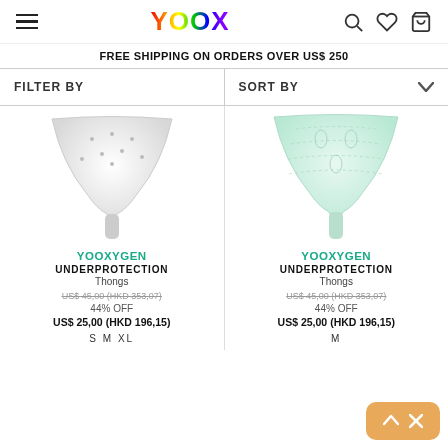YOOX
FREE SHIPPING ON ORDERS OVER US$ 250
FILTER BY   SORT BY
[Figure (photo): White thong underwear product photo]
YOOXYGEN
UNDERPROTECTION Thongs
US$ 45,00 (HKD 353,07) 44% OFF US$ 25,00 (HKD 196,15)
S  M  XL
[Figure (photo): Mint green thong underwear product photo]
YOOXYGEN
UNDERPROTECTION Thongs
US$ 45,00 (HKD 353,07) 44% OFF US$ 25,00 (HKD 196,15)
M